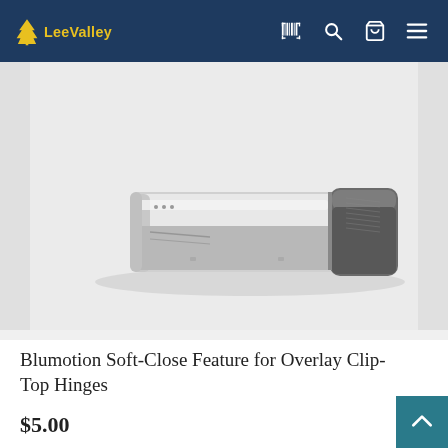Lee Valley
[Figure (photo): Close-up product photo of a Blumotion Soft-Close device — a rectangular polished stainless steel body with a dark gray plastic end cap, shown on a light gray background.]
Blumotion Soft-Close Feature for Overlay Clip-Top Hinges
$5.00